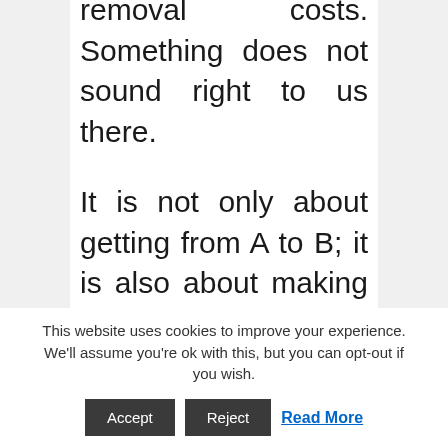removal costs. Something does not sound right to us there.
It is not only about getting from A to B; it is also about making sure that your items are protected and do not break. Read reviews before settling on a removal company. You don’t want your office equipment to get damaged; whether it is a plant pot or desk chair, ensure that your property is packed properly.
This website uses cookies to improve your experience. We'll assume you're ok with this, but you can opt-out if you wish.